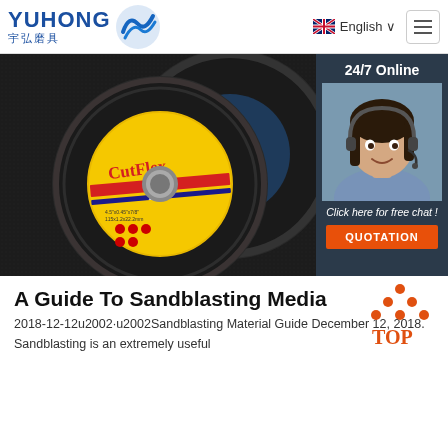YUHONG 宇弘磨具 | English
[Figure (photo): Cutting discs (CutFlex and Inox branded abrasive wheels) on a dark background, with a customer service representative sidebar showing '24/7 Online', 'Click here for free chat!', and a QUOTATION button]
A Guide To Sandblasting Media
2018-12-12u2002·u2002Sandblasting Material Guide December 12, 2018. Sandblasting is an extremely useful